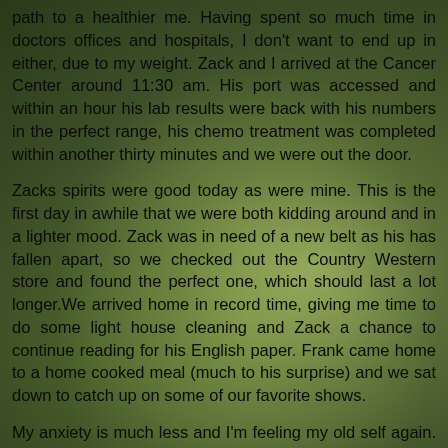path to a healthier me. Having spent so much time in doctors offices and hospitals, I don't want to end up in either, due to my weight. Zack and I arrived at the Cancer Center around 11:30 am. His port was accessed and within an hour his lab results were back with his numbers in the perfect range, his chemo treatment was completed within another thirty minutes and we were out the door.
Zacks spirits were good today as were mine. This is the first day in awhile that we were both kidding around and in a lighter mood. Zack was in need of a new belt as his has fallen apart, so we checked out the Country Western store and found the perfect one, which should last a lot longer.We arrived home in record time, giving me time to do some light house cleaning and Zack a chance to continue reading for his English paper. Frank came home to a home cooked meal (much to his surprise) and we sat down to catch up on some of our favorite shows.
My anxiety is much less and I'm feeling my old self again. I realized (finally) that by taking care of myself, I am in a better state of mind to care for others. Of course with this change,